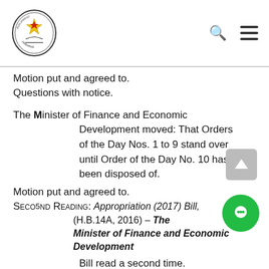Parliament of Zimbabwe
Motion put and agreed to.
Questions with notice.
The Minister of Finance and Economic Development moved: That Orders of the Day Nos. 1 to 9 stand over until Order of the Day No. 10 has been disposed of.
Motion put and agreed to.
Second Reading: Appropriation (2017) Bill, (H.B.14A, 2016) – The Minister of Finance and Economic Development
Bill read a second time.
Committee, with leave, forthwith.